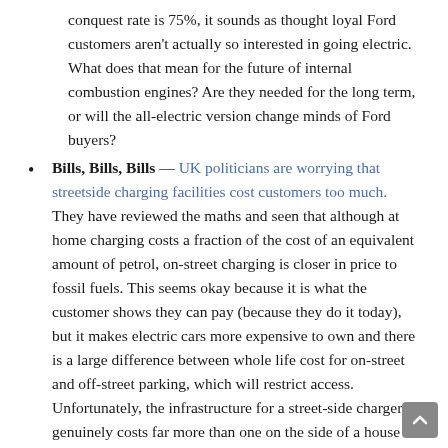conquest rate is 75%, it sounds as thought loyal Ford customers aren't actually so interested in going electric. What does that mean for the future of internal combustion engines? Are they needed for the long term, or will the all-electric version change minds of Ford buyers?
Bills, Bills, Bills — UK politicians are worrying that streetside charging facilities cost customers too much. They have reviewed the maths and seen that although at home charging costs a fraction of the cost of an equivalent amount of petrol, on-street charging is closer in price to fossil fuels. This seems okay because it is what the customer shows they can pay (because they do it today), but it makes electric cars more expensive to own and there is a large difference between whole life cost for on-street and off-street parking, which will restrict access. Unfortunately, the infrastructure for a street-side charger genuinely costs far more than one on the side of a house with both the